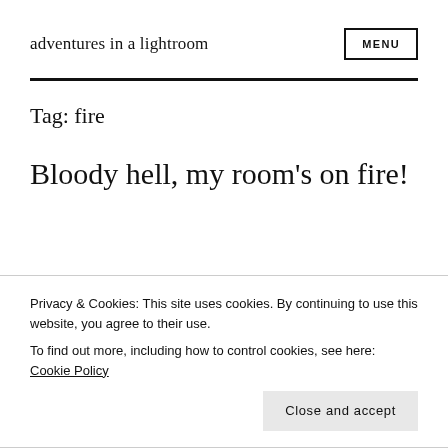adventures in a lightroom
Tag: fire
Bloody hell, my room's on fire!
Privacy & Cookies: This site uses cookies. By continuing to use this website, you agree to their use.
To find out more, including how to control cookies, see here: Cookie Policy
Close and accept